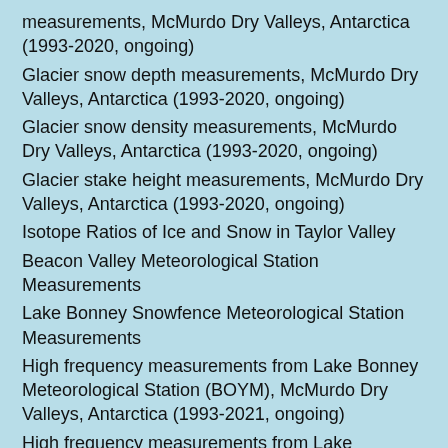measurements, McMurdo Dry Valleys, Antarctica (1993-2020, ongoing)
Glacier snow depth measurements, McMurdo Dry Valleys, Antarctica (1993-2020, ongoing)
Glacier snow density measurements, McMurdo Dry Valleys, Antarctica (1993-2020, ongoing)
Glacier stake height measurements, McMurdo Dry Valleys, Antarctica (1993-2020, ongoing)
Isotope Ratios of Ice and Snow in Taylor Valley
Beacon Valley Meteorological Station Measurements
Lake Bonney Snowfence Meteorological Station Measurements
High frequency measurements from Lake Bonney Meteorological Station (BOYM), McMurdo Dry Valleys, Antarctica (1993-2021, ongoing)
High frequency measurements from Lake Brownworth Meteorological Station (BRHM), McMurdo Dry Valleys, Antarctica (1994-2022, ongoing)
High frequency measurements from Canada Glacier